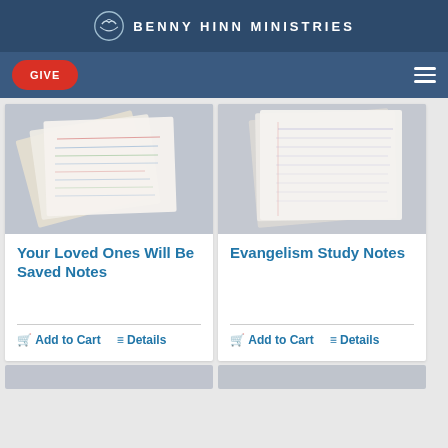BENNY HINN MINISTRIES
[Figure (screenshot): Navigation bar with red GIVE button and hamburger menu icon on dark blue background]
[Figure (photo): Handwritten notes cards fanned out on grey surface - left card product image]
Your Loved Ones Will Be Saved Notes
Add to Cart
Details
[Figure (photo): Handwritten notes pages on grey surface - right card product image]
Evangelism Study Notes
Add to Cart
Details